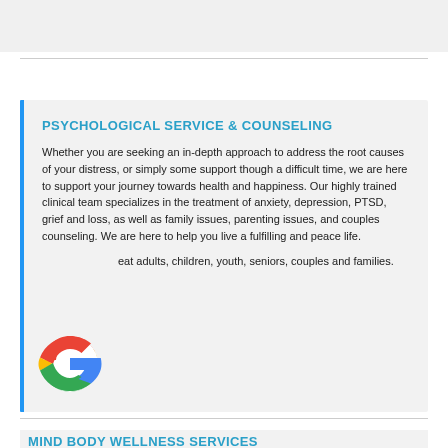[Figure (other): Grey header bar at top of page]
PSYCHOLOGICAL SERVICE & COUNSELING
Whether you are seeking an in-depth approach to address the root causes of your distress, or simply some support though a difficult time, we are here to support your journey towards health and happiness. Our highly trained clinical team specializes in the treatment of anxiety, depression, PTSD, grief and loss, as well as family issues, parenting issues, and couples counseling. We are here to help you live a fulfilling and peace life.
eat adults, children, youth, seniors, couples and families.
[Figure (logo): Google 'G' logo in red, yellow, green, blue colors]
MIND BODY WELLNESS SERVICES